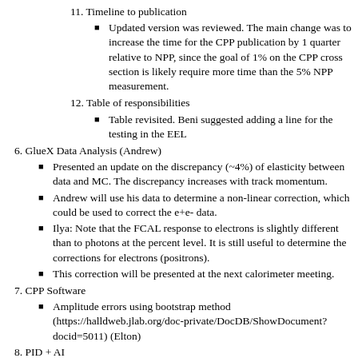11. Timeline to publication
Updated version was reviewed. The main change was to increase the time for the CPP publication by 1 quarter relative to NPP, since the goal of 1% on the CPP cross section is likely require more time than the 5% NPP measurement.
12. Table of responsibilities
Table revisited. Beni suggested adding a line for the testing in the EEL
6. GlueX Data Analysis (Andrew)
Presented an update on the discrepancy (~4%) of elasticity between data and MC. The discrepancy increases with track momentum.
Andrew will use his data to determine a non-linear correction, which could be used to correct the e+e- data.
Ilya: Note that the FCAL response to electrons is slightly different than to photons at the percent level. It is still useful to determine the corrections for electrons (positrons).
This correction will be presented at the next calorimeter meeting.
7. CPP Software
Amplitude errors using bootstrap method (https://halldweb.jlab.org/doc-private/DocDB/ShowDocument?docid=5011) (Elton)
8. PID + AI